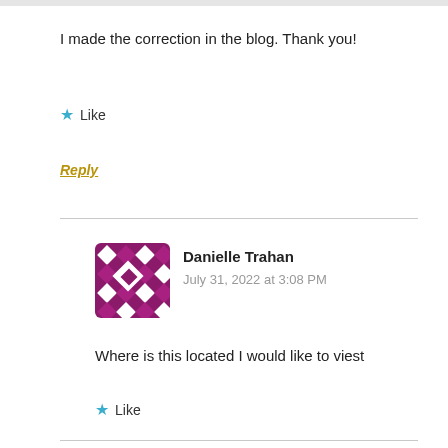I made the correction in the blog. Thank you!
★ Like
Reply
Danielle Trahan
July 31, 2022 at 3:08 PM
Where is this located I would like to viest
★ Like